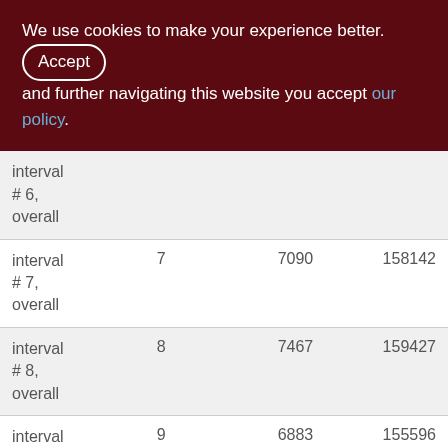We use cookies to make your experience better. By accepting and further navigating this website you accept our policy.
|  |  |  |  |
| --- | --- | --- | --- |
| interval # 6, overall |  |  |  |
| interval # 7, overall | 7 | 7090 | 158142 |
| interval # 8, overall | 8 | 7467 | 159427 |
| interval # 9, overall | 9 | 6883 | 155596 |
| interval | 10 | 7087 | 154421 |